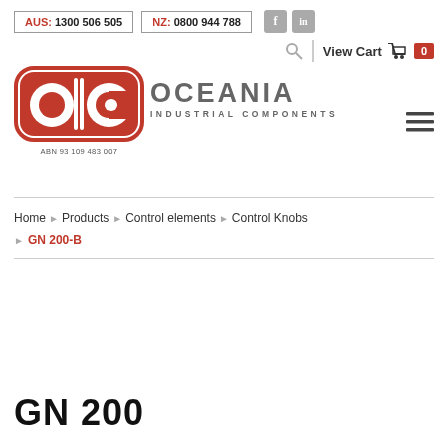AUS: 1300 506 505 | NZ: 0800 944 788 | Facebook | LinkedIn | View Cart 0
[Figure (logo): OIC Oceania Industrial Components logo with OIC emblem in red and white circle design, company name, ABN 93 109 483 007]
Home > Products > Control elements > Control Knobs > GN 200-B
GN 200